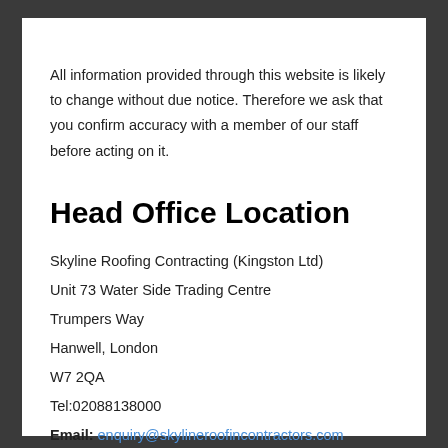All information provided through this website is likely to change without due notice. Therefore we ask that you confirm accuracy with a member of our staff before acting on it.
Head Office Location
Skyline Roofing Contracting (Kingston Ltd)
Unit 73 Water Side Trading Centre
Trumpers Way
Hanwell, London
W7 2QA
Tel:02088138000
Email: enquiry@skylineroofincontractors.com